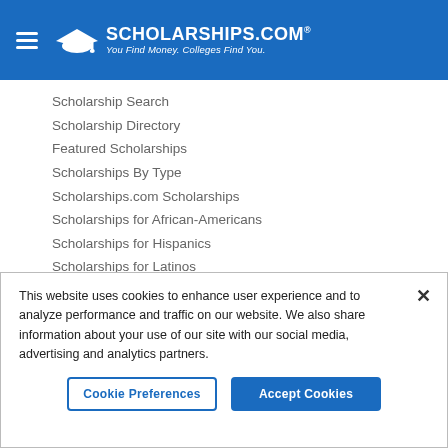SCHOLARSHIPS.COM® — You Find Money. Colleges Find You.
Scholarship Search
Scholarship Directory
Featured Scholarships
Scholarships By Type
Scholarships.com Scholarships
Scholarships for African-Americans
Scholarships for Hispanics
Scholarships for Latinos
Scholarships for First In Family
Scholarships for Veterans
Scholarships for LGBTQ Students
This website uses cookies to enhance user experience and to analyze performance and traffic on our website. We also share information about your use of our site with our social media, advertising and analytics partners.